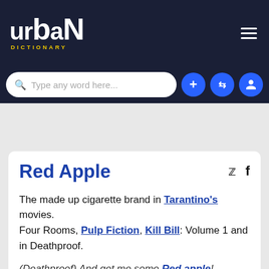urban DICTIONARY
[Figure (screenshot): Urban Dictionary website navigation bar with logo, search box, and action buttons (add, random, profile)]
Red Apple
The made up cigarette brand in Tarantino's movies.
Four Rooms, Pulp Fiction, Kill Bill: Volume 1 and in Deathproof.
(Deathproof) And get me some Red apple!